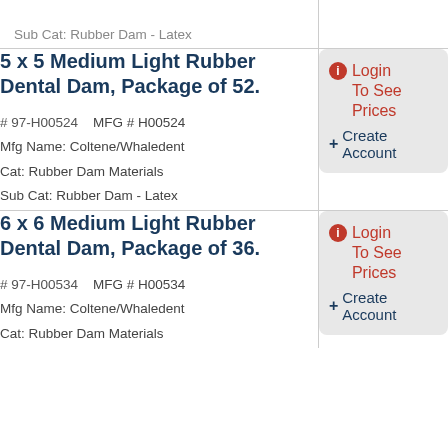Sub Cat: Rubber Dam - Latex (partial row at top)
5 x 5 Medium Light Rubber Dental Dam, Package of 52.
# 97-H00524   MFG # H00524
Mfg Name: Coltene/Whaledent
Cat: Rubber Dam Materials
Sub Cat: Rubber Dam - Latex
Login To See Prices + Create Account
6 x 6 Medium Light Rubber Dental Dam, Package of 36.
# 97-H00534   MFG # H00534
Mfg Name: Coltene/Whaledent
Cat: Rubber Dam Materials